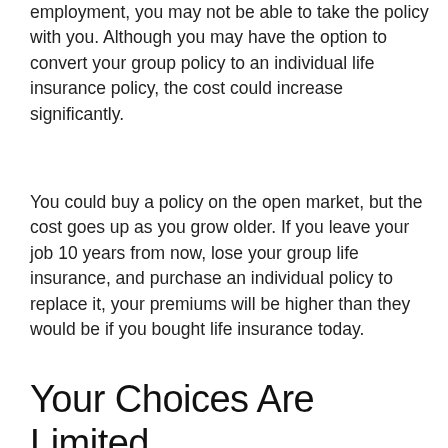employment, you may not be able to take the policy with you. Although you may have the option to convert your group policy to an individual life insurance policy, the cost could increase significantly.
You could buy a policy on the open market, but the cost goes up as you grow older. If you leave your job 10 years from now, lose your group life insurance, and purchase an individual policy to replace it, your premiums will be higher than they would be if you bought life insurance today.
Your Choices Are Limited